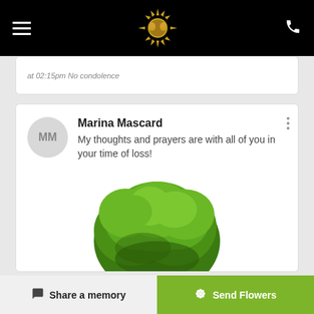Navigation bar with hamburger menu, logo, and phone icon
at 02:15pm No condolence
Marina Mascard
My thoughts and prayers are with all of you in your time of loss!
[Figure (photo): A green leafy tree with full canopy on a white background]
Share a memory
Send Flowers